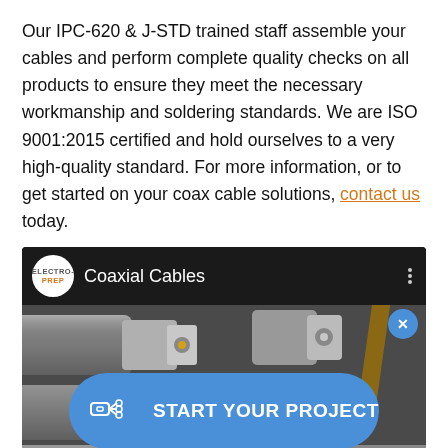Our IPC-620 & J-STD trained staff assemble your cables and perform complete quality checks on all products to ensure they meet the necessary workmanship and soldering standards. We are ISO 9001:2015 certified and hold ourselves to a very high-quality standard. For more information, or to get started on your coax cable solutions, contact us today.
[Figure (screenshot): Video thumbnail or embedded video player showing coaxial cable connectors (SMA connectors) in close-up. Header bar shows ELECTRO-PREP logo and 'Coaxial Cables' title. A blue 'START YOUR PROJECT' button overlays the image. An X close button appears top right.]